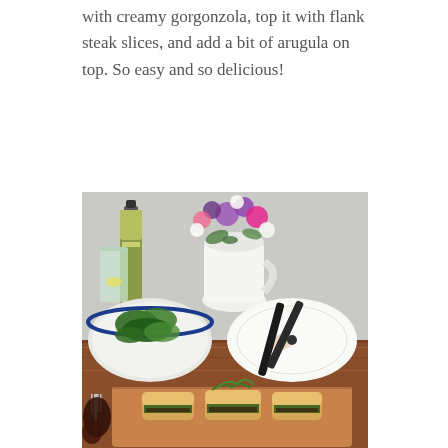with creamy gorgonzola, top it with flank steak slices, and add a bit of arugula on top. So easy and so delicious!
[Figure (photo): A table setting with a bowl of arugula salad, a white pitcher holding a colorful flower bouquet, an olive oil bottle, a glass, black kitchen tongs on a decorative plate, and ciabatta sandwiches filled with steak and arugula on a wooden cutting board.]